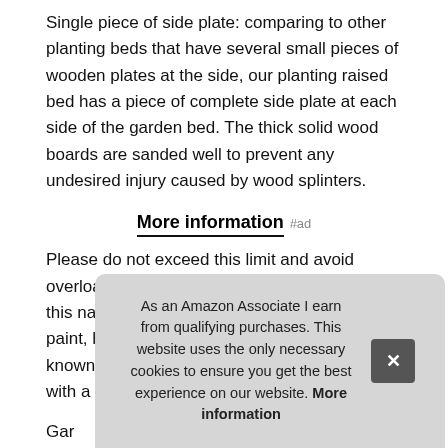Single piece of side plate: comparing to other planting beds that have several small pieces of wooden plates at the side, our planting raised bed has a piece of complete side plate at each side of the garden bed. The thick solid wood boards are sanded well to prevent any undesired injury caused by wood splinters.
More information #ad
Please do not exceed this limit and avoid overload after watering. Natural solid wood: this natural raised garden bed is made of non-paint, harmless 100% solid wood, which is known for its strength and dimensional stability with a pleasing wooden smell.
Gar... plan... plan... ventilation for your plants to grow more healthily. The
As an Amazon Associate I earn from qualifying purchases. This website uses the only necessary cookies to ensure you get the best experience on our website. More information